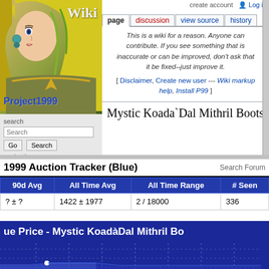[Figure (illustration): Project1999 wiki logo with illustrated female character with yellow/green hair, earring, wearing armor. Text 'Wiki' in top right corner and 'Project1999' in bold blue text at bottom left.]
search
navigation
create account  Log in
page | discussion | view source | history
This is a wiki for a reason. Anyone can contribute. If you see something that is inaccurate or can be improved, don't ask that it be fixed--just improve it.
[ Disclaimer, Create new user --- Wiki markup help, Install P99 ]
Mystic Koada`Dal Mithril Boots
1999 Auction Tracker (Blue)
Search Forum
| 90d Avg | All Time Avg | All Time Range | # Seen |
| --- | --- | --- | --- |
| ? ± ? | 1422 ± 1977 | 2 / 18000 | 336 |
[Figure (continuous-plot): Blue price chart for Mystic KoadàDal Mithril Boots showing price history over time, dark blue background with lighter blue area fills and dashed white grid lines. Title visible: 'ue Price - Mystic KoadàDal Mithril Bo']